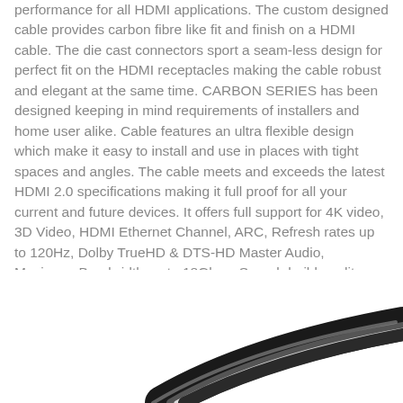performance for all HDMI applications. The custom designed cable provides carbon fibre like fit and finish on a HDMI cable. The die cast connectors sport a seam-less design for perfect fit on the HDMI receptacles making the cable robust and elegant at the same time. CARBON SERIES has been designed keeping in mind requirements of installers and home user alike. Cable features an ultra flexible design which make it easy to install and use in places with tight spaces and angles. The cable meets and exceeds the latest HDMI 2.0 specifications making it full proof for all your current and future devices. It offers full support for 4K video, 3D Video, HDMI Ethernet Channel, ARC, Refresh rates up to 120Hz, Dolby TrueHD & DTS-HD Master Audio, Maximum Bandwidth up to 18Gbps, Superb build quality and perhaps best of all, the ALOGIC Life Time Guarantee for your peace of mind.
[Figure (photo): Partial view of a black HDMI cable curving across the bottom portion of the image, shown in black and white/grayscale.]